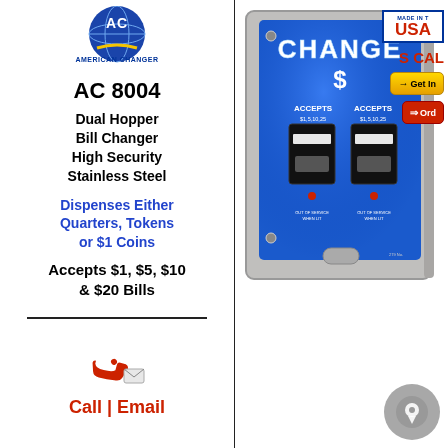[Figure (logo): American Changer logo with globe and 'AC' letters, text 'AMERICAN CHANGER' below]
AC 8004
Dual Hopper Bill Changer High Security Stainless Steel
Dispenses Either Quarters, Tokens or $1 Coins
Accepts $1, $5, $10 & $20 Bills
[Figure (photo): AC 8004 Dual Hopper Bill Changer machine with blue 'CHANGE' front panel, stainless steel cabinet, two bill acceptors, coin dispenser at bottom]
[Figure (logo): Made in USA badge with red USA text and blue border]
S CAL
[Figure (other): Get Info button (gold/yellow)]
[Figure (other): Order button (red)]
[Figure (illustration): Phone/email icon - red telephone handset]
Call | Email
[Figure (other): Chat bubble icon, gray circle, bottom right corner]